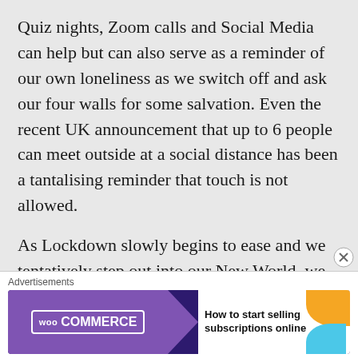Quiz nights, Zoom calls and Social Media can help but can also serve as a reminder of our own loneliness as we switch off and ask our four walls for some salvation. Even the recent UK announcement that up to 6 people can meet outside at a social distance has been a tantalising reminder that touch is not allowed.
As Lockdown slowly begins to ease and we tentatively step out into our New World, we should let the last few weeks serve as a reminder that Mother Nature
[Figure (other): WooCommerce advertisement banner: purple background with WooCommerce logo on left, arrow pointing right, white section on right with text 'How to start selling subscriptions online' and decorative orange and blue blobs.]